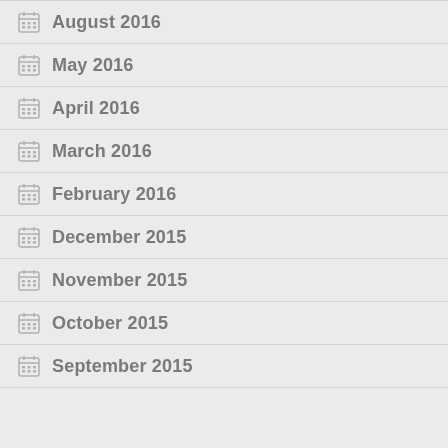August 2016
May 2016
April 2016
March 2016
February 2016
December 2015
November 2015
October 2015
September 2015